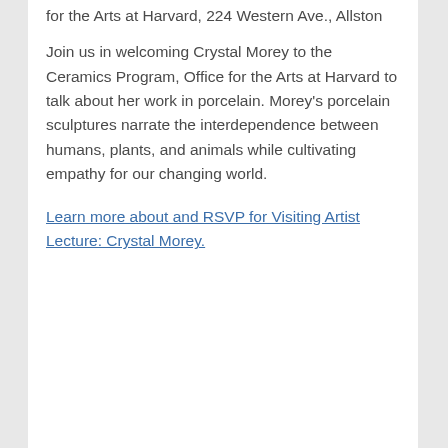for the Arts at Harvard, 224 Western Ave., Allston
Join us in welcoming Crystal Morey to the Ceramics Program, Office for the Arts at Harvard to talk about her work in porcelain. Morey's porcelain sculptures narrate the interdependence between humans, plants, and animals while cultivating empathy for our changing world.
Learn more about and RSVP for Visiting Artist Lecture: Crystal Morey.